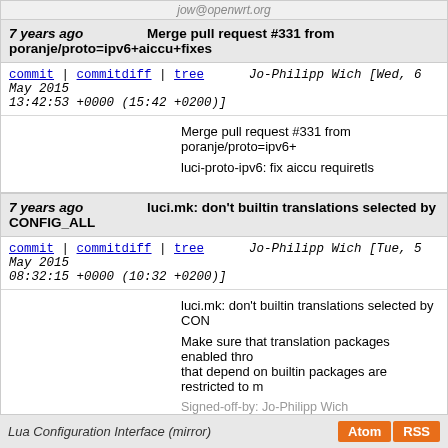jow@openwrt.org
7 years ago   Merge pull request #331 from poranje/proto=ipv6+aiccu+fixes
commit | commitdiff | tree   Jo-Philipp Wich [Wed, 6 May 2015 13:42:53 +0000 (15:42 +0200)]
Merge pull request #331 from poranje/proto=ipv6+

luci-proto-ipv6: fix aiccu requiretls
7 years ago   luci.mk: don't builtin translations selected by CONFIG_ALL
commit | commitdiff | tree   Jo-Philipp Wich [Tue, 5 May 2015 08:32:15 +0000 (10:32 +0200)]
luci.mk: don't builtin translations selected by CON

Make sure that translation packages enabled thro that depend on builtin packages are restricted to m

Signed-off-by: Jo-Philipp Wich <jow@openwrt.org>
next
Lua Configuration Interface (mirror)   Atom  RSS